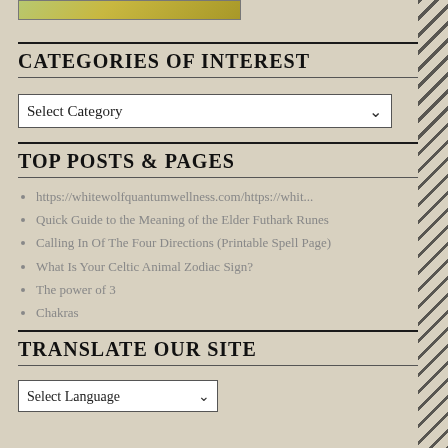[Figure (photo): Partial image strip at top showing green/golden grassy scene]
CATEGORIES OF INTEREST
Select Category (dropdown)
TOP POSTS & PAGES
https://whitewolfquantumwellness.com/https://whit...
Quick Guide to the Meaning of the Elder Futhark Runes
Calling In Of The Four Directions (Printable Spell Page)
What Is Your Celtic Animal Zodiac Sign?
The power of 3
Chakras
TRANSLATE OUR SITE
Select Language (dropdown)